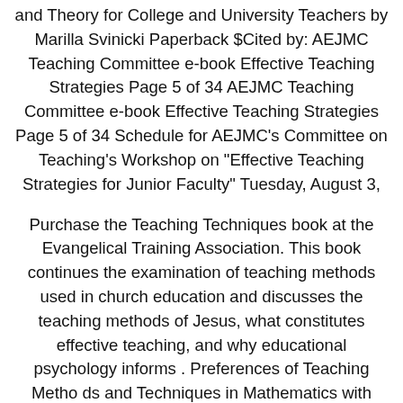and Theory for College and University Teachers by Marilla Svinicki Paperback $Cited by: AEJMC Teaching Committee e-book Effective Teaching Strategies Page 5 of 34 AEJMC Teaching Committee e-book Effective Teaching Strategies Page 5 of 34 Schedule for AEJMC’s Committee on Teaching’s Workshop on “Effective Teaching Strategies for Junior Faculty” Tuesday, August 3,
Purchase the Teaching Techniques book at the Evangelical Training Association. This book continues the examination of teaching methods used in church education and discusses the teaching methods of Jesus, what constitutes effective teaching, and why educational psychology informs . Preferences of Teaching Metho ds and Techniques in Mathematics with Reasons As seen in Table 4, the technique of “Problem Establishing and Solving” was cited by 31 o ut of 40 teachers,Author: Menderes Ünal. learning.